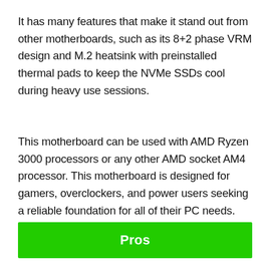It has many features that make it stand out from other motherboards, such as its 8+2 phase VRM design and M.2 heatsink with preinstalled thermal pads to keep the NVMe SSDs cool during heavy use sessions.
This motherboard can be used with AMD Ryzen 3000 processors or any other AMD socket AM4 processor. This motherboard is designed for gamers, overclockers, and power users seeking a reliable foundation for all of their PC needs.
Pros